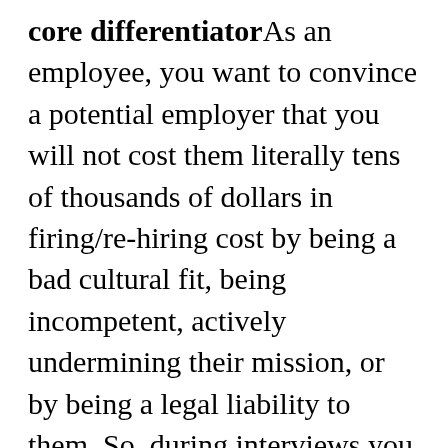core differentiatorAs an employee, you want to convince a potential employer that you will not cost them literally tens of thousands of dollars in firing/re-hiring cost by being a bad cultural fit, being incompetent, actively undermining their mission, or by being a legal liability to them. So, during interviews you magically become a "team player" or whatever other manufactured personality trait is currently in vogue for ideal employees.As a business value creator, your personality matters less than your